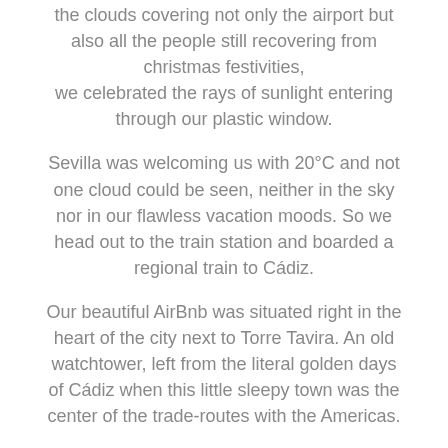the clouds covering not only the airport but also all the people still recovering from christmas festivities, we celebrated the rays of sunlight entering through our plastic window.
Sevilla was welcoming us with 20°C and not one cloud could be seen, neither in the sky nor in our flawless vacation moods. So we head out to the train station and boarded a regional train to Cádiz.
Our beautiful AirBnb was situated right in the heart of the city next to Torre Tavira. An old watchtower, left from the literal golden days of Cádiz when this little sleepy town was the center of the trade-routes with the Americas.
The town is divided into a small round half-island, home of old and run down buildings, narrow streets,